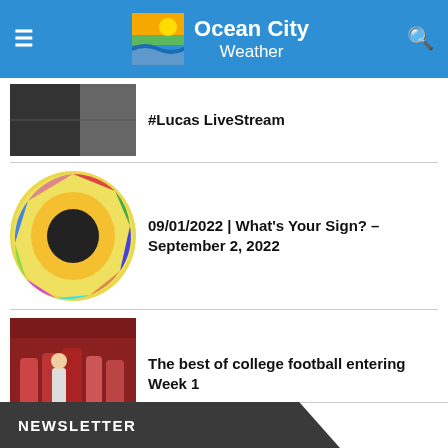Ocean City Weather
#Lucas LiveStream
09/01/2022 | What's Your Sign? – September 2, 2022
The best of college football entering Week 1
NEWSLETTER